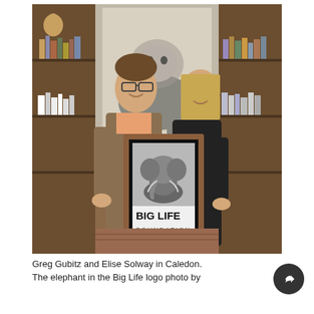[Figure (photo): Greg Gubitz and Elise Solway standing indoors in a wood-paneled room with bookshelves, holding a framed Big Life Foundation poster featuring a black-and-white elephant photo. A large black-and-white lion photograph hangs on the wall behind them.]
Greg Gubitz and Elise Solway in Caledon. The elephant in the Big Life logo photo by